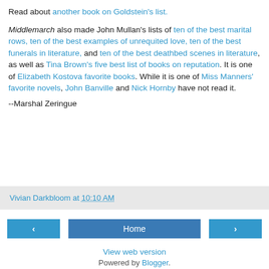Read about another book on Goldstein's list.
Middlemarch also made John Mullan's lists of ten of the best marital rows, ten of the best examples of unrequited love, ten of the best funerals in literature, and ten of the best deathbed scenes in literature, as well as Tina Brown's five best list of books on reputation. It is one of Elizabeth Kostova favorite books. While it is one of Miss Manners' favorite novels, John Banville and Nick Hornby have not read it.
--Marshal Zeringue
Vivian Darkbloom at 10:10 AM
‹
Home
›
View web version
Powered by Blogger.